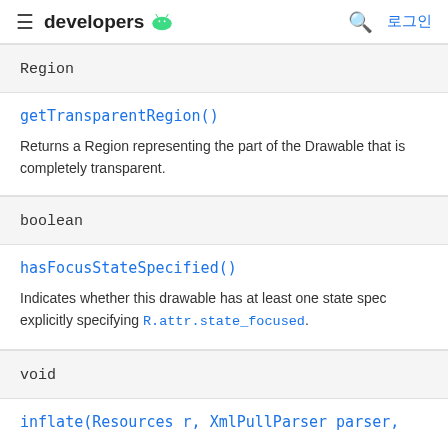developers [android logo] 로그인
Region
getTransparentRegion()
Returns a Region representing the part of the Drawable that is completely transparent.
boolean
hasFocusStateSpecified()
Indicates whether this drawable has at least one state spec explicitly specifying R.attr.state_focused.
void
inflate(Resources r, XmlPullParser parser,